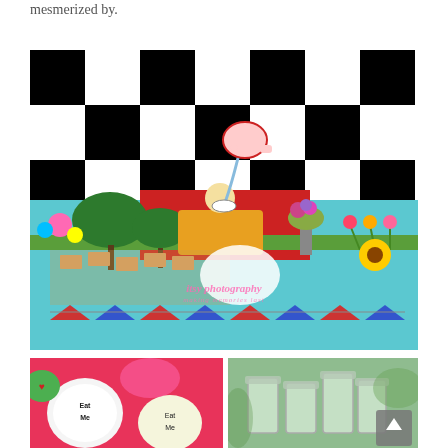mesmerized by.
[Figure (photo): Alice in Wonderland themed party dessert table with black and white checkered backdrop, floating teapot centerpiece, mushroom topiaries, colorful flowers, cookies, cupcakes, and bunting. Watermark reads 'itsy photography / making memories last']
[Figure (photo): Close-up of decorated cookies reading 'Eat Me' on a pink and green background]
[Figure (photo): Close-up of glass jars on a table with blurred green background]